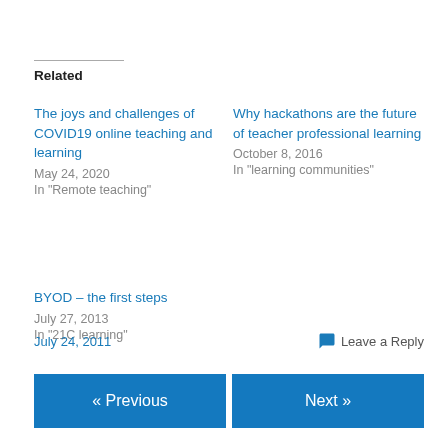Related
The joys and challenges of COVID19 online teaching and learning
May 24, 2020
In "Remote teaching"
Why hackathons are the future of teacher professional learning
October 8, 2016
In "learning communities"
BYOD – the first steps
July 27, 2013
In "21C learning"
July 24, 2011   Leave a Reply
« Previous
Next »